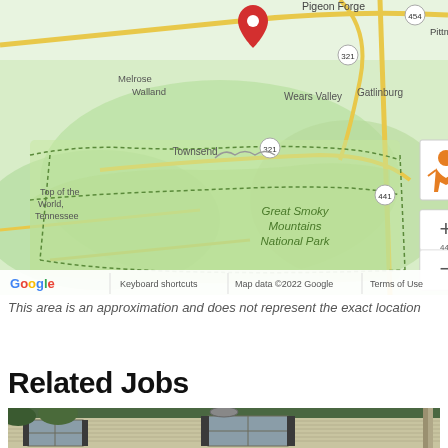[Figure (map): Google Maps view showing Great Smoky Mountains National Park area, including Pigeon Forge, Gatlinburg, Wears Valley, Townsend, Melrose, Walland, and Top of the World Tennessee. A red map pin marker is visible near Pigeon Forge. Map controls including street view person icon, zoom in (+) and zoom out (-) buttons are visible. Bottom bar shows Google logo, Keyboard shortcuts, Map data ©2022 Google, Terms of Use.]
This area is an approximation and does not represent the exact location
Related Jobs
[Figure (photo): Photo of a house exterior showing siding, windows with shutters, and gutters/downspouts. Trees visible in background.]